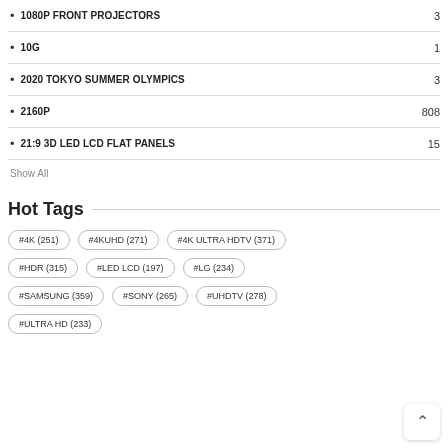1080P FRONT PROJECTORS   3
10G   1
2020 TOKYO SUMMER OLYMPICS   3
2160P   808
21:9 3D LED LCD FLAT PANELS   15
Show All
Hot Tags
#4K (251)  #4KUHD (271)  #4K ULTRA HDTV (371)  #HDR (315)  #LED LCD (197)  #LG (234)  #SAMSUNG (359)  #SONY (265)  #UHDTV (278)  #ULTRA HD (233)